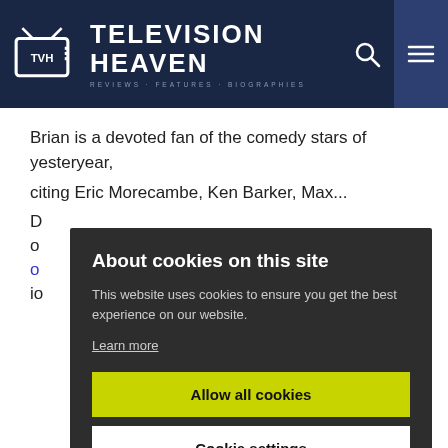TELEVISION HEAVEN
Brian is a devoted fan of the comedy stars of yesteryear,
citing Eric Morecambe, Ken Barker, Max...
D...
o...
o...
io...
About cookies on this site
This website uses cookies to ensure you get the best experience on our website.
Learn more
Allow all cookies
Cookie settings
Share